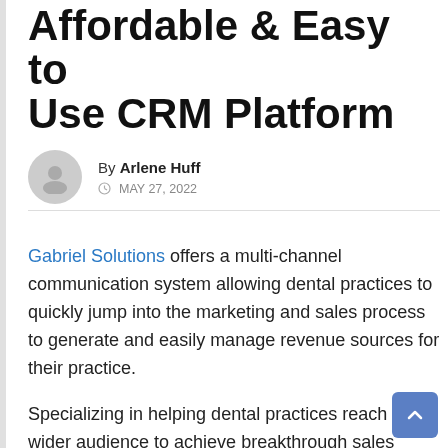Affordable & Easy to Use CRM Platform
By Arlene Huff
MAY 27, 2022
Gabriel Solutions offers a multi-channel communication system allowing dental practices to quickly jump into the marketing and sales process to generate and easily manage revenue sources for their practice.
Specializing in helping dental practices reach a wider audience to achieve breakthrough sales growth using reputation marketing, the system allows Dentists to nurture and retain existing